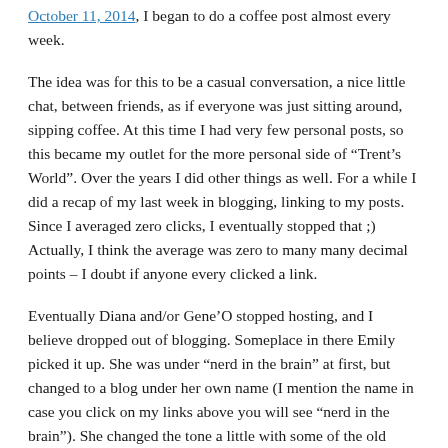October 11, 2014, I began to do a coffee post almost every week.
The idea was for this to be a casual conversation, a nice little chat, between friends, as if everyone was just sitting around, sipping coffee. At this time I had very few personal posts, so this became my outlet for the more personal side of “Trent’s World”. Over the years I did other things as well. For a while I did a recap of my last week in blogging, linking to my posts. Since I averaged zero clicks, I eventually stopped that ;) Actually, I think the average was zero to many many decimal points – I doubt if anyone every clicked a link.
Eventually Diana and/or Gene’O stopped hosting, and I believe dropped out of blogging. Someplace in there Emily picked it up. She was under “nerd in the brain” at first, but changed to a blog under her own name (I mention the name in case you click on my links above you will see “nerd in the brain”). She changed the tone a little with some of the old...